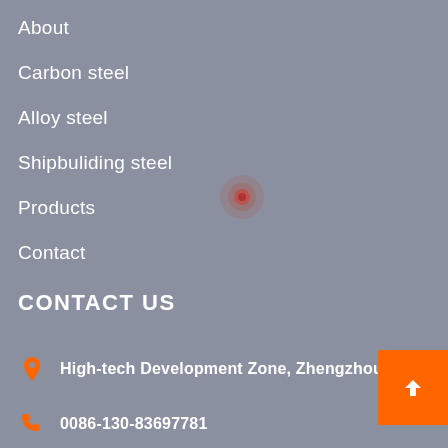About
Carbon steel
Alloy steel
Shipbuliding steel
Products
Contact
[Figure (other): Map location pin marker on map background]
CONTACT US
High-tech Development Zone, Zhengzhou, China
0086-130-83697781